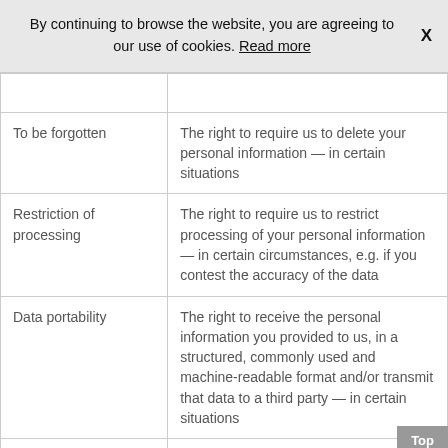By continuing to browse the website, you are agreeing to our use of cookies. Read more  X
| To be forgotten | The right to require us to delete your personal information — in certain situations |
| Restriction of processing | The right to require us to restrict processing of your personal information — in certain circumstances, e.g. if you contest the accuracy of the data |
| Data portability | The right to receive the personal information you provided to us, in a structured, commonly used and machine-readable format and/or transmit that data to a third party — in certain situations |
| To object | The right to object: |